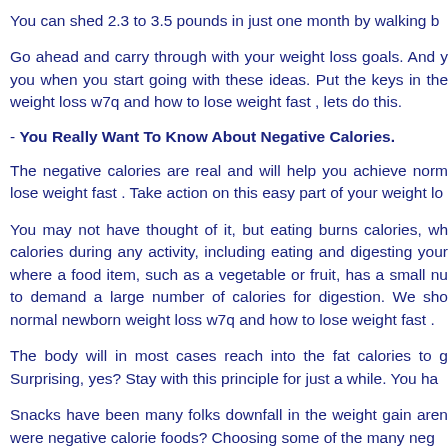You can shed 2.3 to 3.5 pounds in just one month by walking b
Go ahead and carry through with your weight loss goals. And y you when you start going with these ideas. Put the keys in the weight loss w7q and how to lose weight fast , lets do this.
- You Really Want To Know About Negative Calories.
The negative calories are real and will help you achieve norm lose weight fast . Take action on this easy part of your weight lo
You may not have thought of it, but eating burns calories, wh calories during any activity, including eating and digesting your where a food item, such as a vegetable or fruit, has a small nu to demand a large number of calories for digestion. We sho normal newborn weight loss w7q and how to lose weight fast .
The body will in most cases reach into the fat calories to g Surprising, yes? Stay with this principle for just a while. You ha
Snacks have been many folks downfall in the weight gain aren were negative calorie foods? Choosing some of the many neg